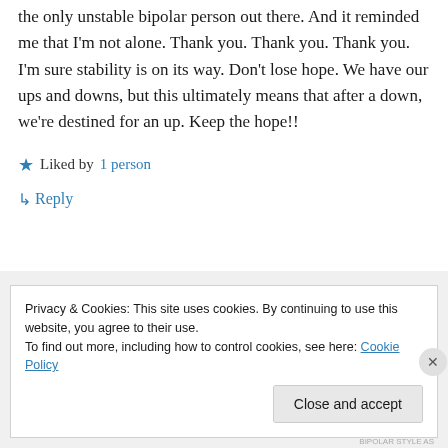the only unstable bipolar person out there. And it reminded me that I'm not alone. Thank you. Thank you. Thank you. I'm sure stability is on its way. Don't lose hope. We have our ups and downs, but this ultimately means that after a down, we're destined for an up. Keep the hope!!
★ Liked by 1 person
↳ Reply
Privacy & Cookies: This site uses cookies. By continuing to use this website, you agree to their use.
To find out more, including how to control cookies, see here: Cookie Policy
Close and accept